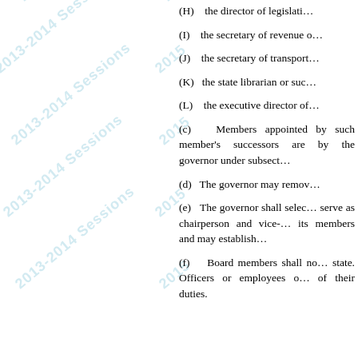(H)    the director of legislati…
(I)    the secretary of revenue o…
(J)    the secretary of transport…
(K)    the state librarian or suc…
(L)    the executive director of…
(c)    Members appointed by … such member's successors are … by the governor under subsect…
(d)    The governor may remov…
(e)    The governor shall selec… serve as chairperson and vice-… its members and may establish…
(f)    Board members shall no… state. Officers or employees o… of their duties.